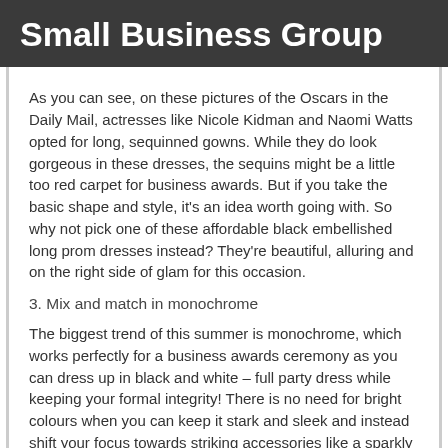Small Business Group
As you can see, on these pictures of the Oscars in the Daily Mail, actresses like Nicole Kidman and Naomi Watts opted for long, sequinned gowns. While they do look gorgeous in these dresses, the sequins might be a little too red carpet for business awards. But if you take the basic shape and style, it’s an idea worth going with. So why not pick one of these affordable black embellished long prom dresses instead? They’re beautiful, alluring and on the right side of glam for this occasion.
3. Mix and match in monochrome
The biggest trend of this summer is monochrome, which works perfectly for a business awards ceremony as you can dress up in black and white – full party dress while keeping your formal integrity! There is no need for bright colours when you can keep it stark and sleek and instead shift your focus towards striking accessories like a sparkly clutch, big earrings or even extrovert makeup! This brings us to the next point . . .